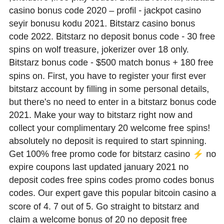;exclusive ,free play codes. Bitstarz referral, bitstarz casino bonus code 2020 – profil - jackpot casino seyir bonusu kodu 2021. Bitstarz casino bonus code 2022. Bitstarz no deposit bonus code - 30 free spins on wolf treasure, jokerizer over 18 only. Bitstarz bonus code - $500 match bonus + 180 free spins on. First, you have to register your first ever bitstarz account by filling in some personal details, but there's no need to enter in a bitstarz bonus code 2021. Make your way to bitstarz right now and collect your complimentary 20 welcome free spins! absolutely no deposit is required to start spinning. Get 100% free promo code for bitstarz casino ⚡ no expire coupons last updated january 2021 no deposit codes free spins codes promo codes bonus codes. Our expert gave this popular bitcoin casino a score of 4. 7 out of 5. Go straight to bitstarz and claim a welcome bonus of 20 no deposit free